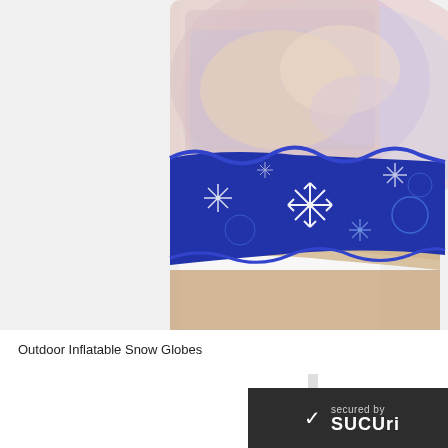[Figure (photo): Close-up photograph of the base of an outdoor inflatable snow globe, showing a blue section with white snowflake patterns on a wavy blue band, with a pearlescent/iridescent upper portion in pinkish and rainbow tones. The top of the image is cropped showing the lower half of the inflatable decoration against a white background.]
Outdoor Inflatable Snow Globes
[Figure (logo): Sucuri security badge: dark gray/charcoal background rectangle with a white checkmark on the left, and text 'secured by' above the Sucuri logo name in white bold letters.]